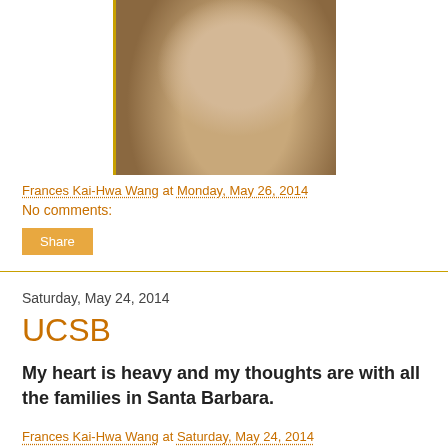[Figure (photo): Sepia-toned portrait photograph of a person, cropped showing head and upper body, with a left golden border stripe.]
Frances Kai-Hwa Wang at Monday, May 26, 2014
No comments:
Share
Saturday, May 24, 2014
UCSB
My heart is heavy and my thoughts are with all the families in Santa Barbara.
Frances Kai-Hwa Wang at Saturday, May 24, 2014
No comments: